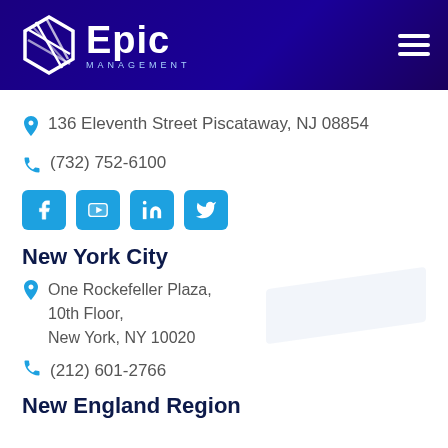[Figure (logo): Epic Management logo with hexagonal icon and white text on dark blue/purple gradient header bar, with hamburger menu icon on right]
136 Eleventh Street Piscataway, NJ 08854
(732) 752-6100
[Figure (illustration): Social media icons: Facebook, YouTube, LinkedIn, Twitter — blue rounded square icons]
New York City
One Rockefeller Plaza,
10th Floor,
New York, NY 10020
(212) 601-2766
New England Region